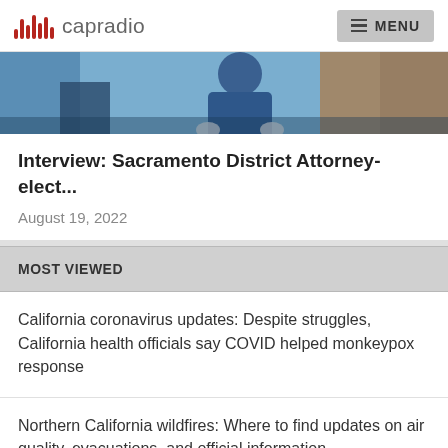capradio  MENU
[Figure (photo): Partial image of a person in a blue jacket, appears to be an interview or professional setting]
Interview: Sacramento District Attorney-elect...
August 19, 2022
MOST VIEWED
California coronavirus updates: Despite struggles, California health officials say COVID helped monkeypox response
Northern California wildfires: Where to find updates on air quality, evacuations, and official information